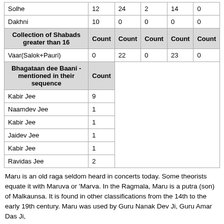|  | Count | Count | Count | Count | Count |
| --- | --- | --- | --- | --- | --- |
| Solhe | 12 | 24 | 2 | 14 | 0 |
| Dakhni | 10 | 0 | 0 | 0 | 0 |
| Collection of Shabads greater than 16 | Count | Count | Count | Count | Count |
| Vaar(Salok+Pauri) | 0 | 22 | 0 | 23 | 0 |
| Bhagataan dee Baani - mentioned in their sequence | Count |  |  |  |  |
| Kabir Jee | 9 |  |  |  |  |
| Naamdev Jee | 1 |  |  |  |  |
| Kabir Jee | 1 |  |  |  |  |
| Jaidev Jee | 1 |  |  |  |  |
| Kabir Jee | 1 |  |  |  |  |
| Ravidas Jee | 2 |  |  |  |  |
Maru is an old raga seldom heard in concerts today. Some theorists equate it with Maruva or 'Marva. In the Ragmala, Maru is a putra (son) of Malkaunsa. It is found in other classifications from the 14th to the early 19th century. Maru was used by Guru Nanak Dev Ji, Guru Amar Das Ji,